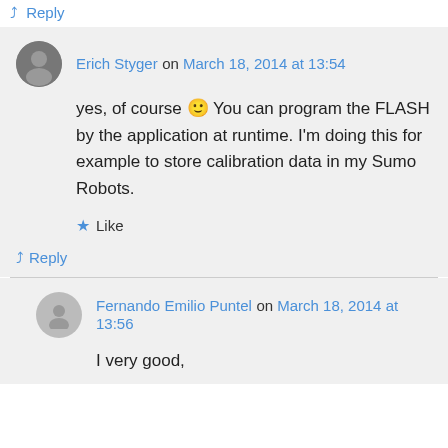↳ Reply
Erich Styger on March 18, 2014 at 13:54
yes, of course 🙂 You can program the FLASH by the application at runtime. I'm doing this for example to store calibration data in my Sumo Robots.
★ Like
↳ Reply
Fernando Emilio Puntel on March 18, 2014 at 13:56
I very good,